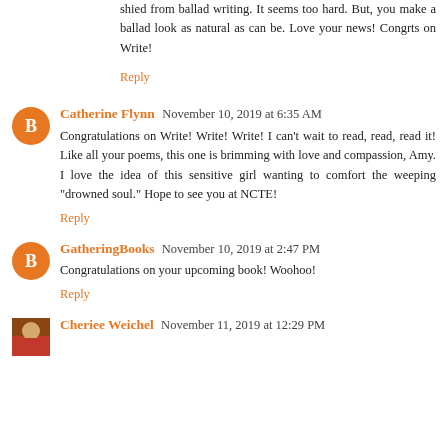shied from ballad writing. It seems too hard. But, you make a ballad look as natural as can be. Love your news! Congrts on Write!
Reply
Catherine Flynn  November 10, 2019 at 6:35 AM
Congratulations on Write! Write! Write! I can't wait to read, read, read it! Like all your poems, this one is brimming with love and compassion, Amy. I love the idea of this sensitive girl wanting to comfort the weeping "drowned soul." Hope to see you at NCTE!
Reply
GatheringBooks  November 10, 2019 at 2:47 PM
Congratulations on your upcoming book! Woohoo!
Reply
Cheriee Weichel  November 11, 2019 at 12:29 PM